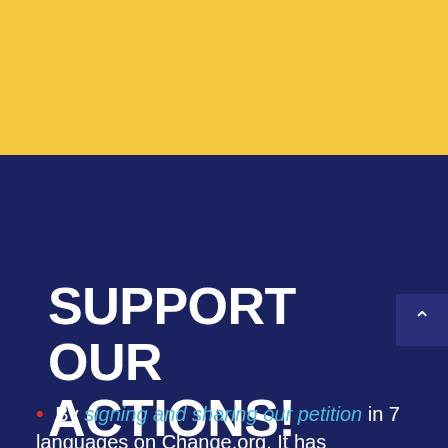[Figure (other): Yellow background section occupying the top portion of the page]
SUPPORT OUR ACTIONS!
• By signing and sharing our petition in 7 languages on Change.org. It has